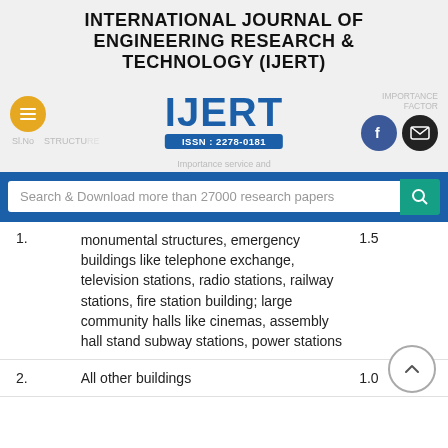INTERNATIONAL JOURNAL OF ENGINEERING RESEARCH & TECHNOLOGY (IJERT)
[Figure (logo): IJERT logo with ISSN: 2278-0181 badge, navigation icons including hamburger menu, Facebook and email buttons]
Search & Download more than 27000 research papers
| Sl.No | Structure | Importance Factor |
| --- | --- | --- |
| 1. | monumental structures, emergency buildings like telephone exchange, television stations, radio stations, railway stations, fire station building; large community halls like cinemas, assembly hall stand subway stations, power stations | 1.5 |
| 2. | All other buildings | 1.0 |